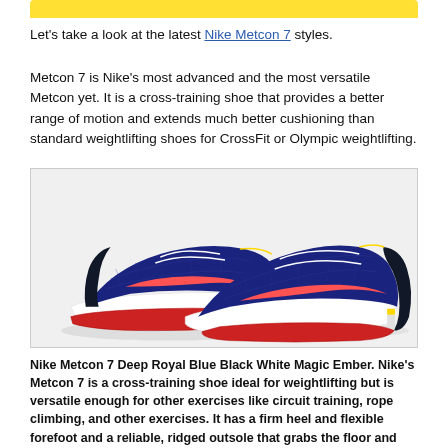[Figure (other): Yellow banner bar at top of page]
Let's take a look at the latest Nike Metcon 7 styles.
Metcon 7 is Nike's most advanced and the most versatile Metcon yet. It is a cross-training shoe that provides a better range of motion and extends much better cushioning than standard weightlifting shoes for CrossFit or Olympic weightlifting.
[Figure (photo): Nike Metcon 7 Deep Royal Blue Black White Magic Ember shoes, a pair shown from the side/top angle on white background]
Nike Metcon 7 Deep Royal Blue Black White Magic Ember. Nike's Metcon 7 is a cross-training shoe ideal for weightlifting but is versatile enough for other exercises like circuit training, rope climbing, and other exercises. It has a firm heel and flexible forefoot and a reliable, ridged outsole that grabs the floor and ropes.